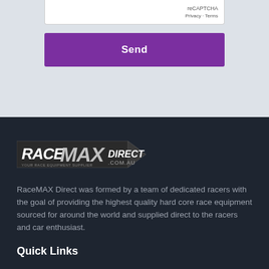[Figure (screenshot): reCAPTCHA widget box with 'reCAPTCHA' label and 'Privacy · Terms' text]
Send
[Figure (logo): RaceMAX Direct logo with stylized text and arrow graphic on dark background]
RaceMAX Direct was formed by a team of dedicated racers with the goal of providing the highest quality hard core race equipment sourced for around the world and supplied direct to the racers and car enthusiast.
Quick Links